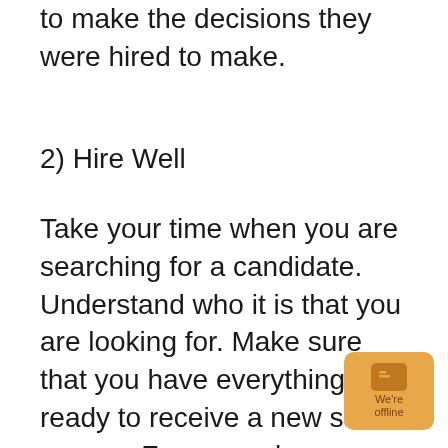to make the decisions they were hired to make.
2) Hire Well
Take your time when you are searching for a candidate. Understand who it is that you are looking for. Make sure that you have everything ready to receive a new sales person. For example, your job description, the compensation p orientation. Hire well and bring